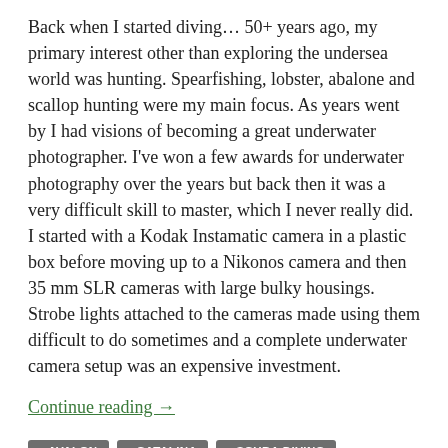Back when I started diving… 50+ years ago, my primary interest other than exploring the undersea world was hunting. Spearfishing, lobster, abalone and scallop hunting were my main focus. As years went by I had visions of becoming a great underwater photographer. I've won a few awards for underwater photography over the years but back then it was a very difficult skill to master, which I never really did. I started with a Kodak Instamatic camera in a plastic box before moving up to a Nikonos camera and then 35 mm SLR cameras with large bulky housings. Strobe lights attached to the cameras made using them difficult to do sometimes and a complete underwater camera setup was an expensive investment.
Continue reading →
AVALON
CATALINA
SCUBA DIVING
UNDERWATER PHOTOGRAPHY